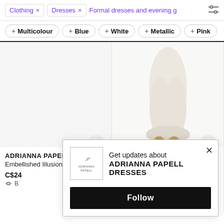Clothing × Dresses × Formal dresses and evening g...
+ Multicolour  + Blue  + White  + Metallic  + Pink
[Figure (screenshot): Product listing for Adrianna Papell Embellished Illusion-Yoke Gown, left column, partial image of gown not visible]
[Figure (screenshot): Product listing for Adrianna Papell Beaded Blouson Column Gown, right column, bottom half of cream gown with gold sandals visible]
ADRIANNA PAPELL
Embellished Illusion - Yoke Gown
C$24...
ADRIANNA PAPELL
Beaded Blouson Column Gown
[Figure (screenshot): Popup notification widget: Adrianna Papell logo, text 'Get updates about ADRIANNA PAPELL DRESSES', close X button, black Follow button]